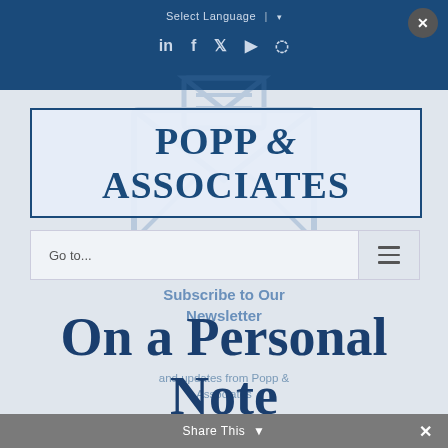Select Language | ▾
[Figure (logo): Social media icons row: LinkedIn, Facebook, Twitter, YouTube, RSS]
[Figure (logo): Popp & Associates company logo in dark blue serif font inside a rectangular border]
Go to...
Subscribe to Our Newsletter
On a Personal Note
and updates from Popp & Associates
Share This ▾  ×